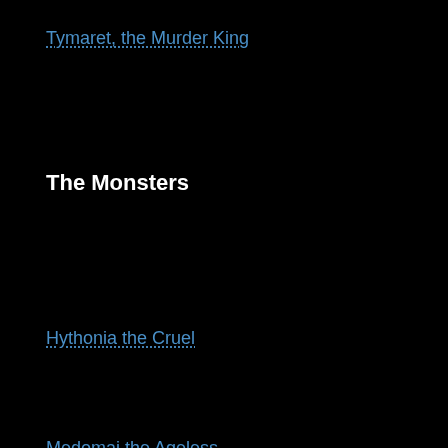Tymaret, the Murder King
The Monsters
Hythonia the Cruel
Medomai the Ageless
Polukranos, World Eater